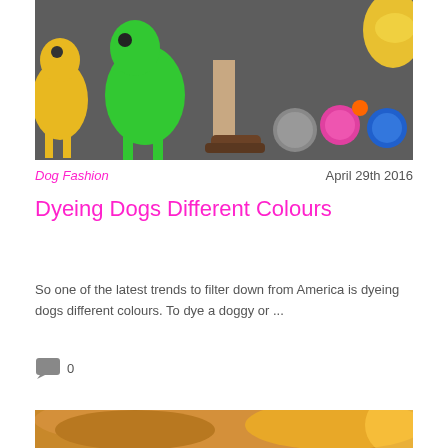[Figure (photo): Photo of colorful dyed dogs — a yellow dog on the left, a bright green dog in the center, a person's legs in flip-flops, and several small colorful pom-pom-like dogs (grey, pink, blue) on the right against a pavement background]
Dog Fashion
April 29th 2016
Dyeing Dogs Different Colours
So one of the latest trends to filter down from America is dyeing dogs different colours. To dye a doggy or ...
0
[Figure (photo): Partial view of a dog's face close up with warm golden/yellow tones]